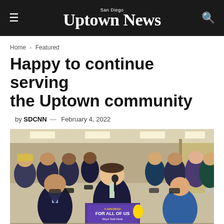San Diego Uptown News
Home > Featured
Happy to continue serving the Uptown community
by SDCNN — February 4, 2022
[Figure (photo): A man in a dark suit speaks at a podium with a purple 'A San Diego For All Of Us – Mayor Todd Gloria' sign, surrounded by a crowd of masked people inside a gymnasium or community center.]